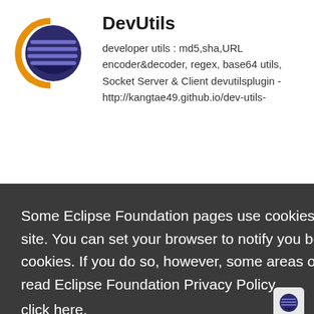[Figure (logo): Eclipse IDE logo - dark purple circle with horizontal lines and orange crescent arc on the left side]
DevUtils
developer utils : md5,sha,URL encoder&decoder, regex, base64 utils, Socket Server & Client devutilsplugin - http://kangtae49.github.io/dev-utils-
Some Eclipse Foundation pages use cookies to better serve you when you return to the site. You can set your browser to notify you before you receive a cookie or turn off cookies. If you do so, however, some areas of some sites may not function properly. To read Eclipse Foundation Privacy Policy click here.
Decline
Allow cookies
Application Server